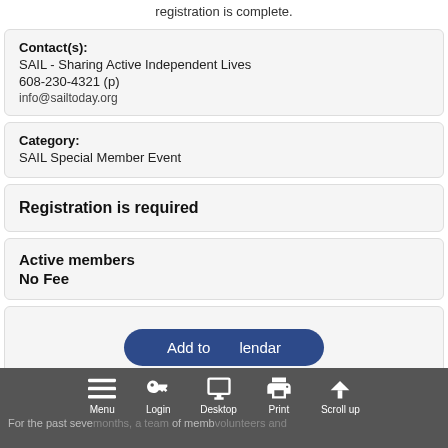registration is complete.
Contact(s):
SAIL - Sharing Active Independent Lives
608-230-4321 (p)
info@sailtoday.org
Category:
SAIL Special Member Event
Registration is required
Active members
No Fee
[Figure (screenshot): Add to Calendar button (dark blue rounded rectangle)]
Menu  Login  Desktop  Print  Scroll up
For the past seve months, a team of memb volunteers and